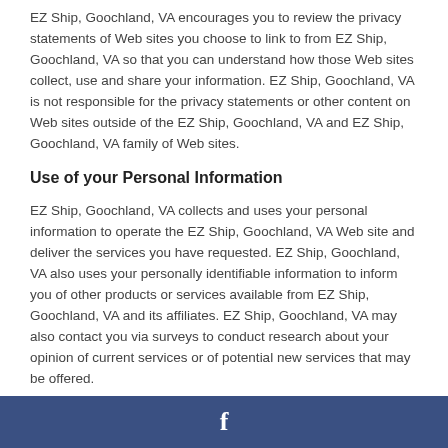EZ Ship, Goochland, VA encourages you to review the privacy statements of Web sites you choose to link to from EZ Ship, Goochland, VA so that you can understand how those Web sites collect, use and share your information. EZ Ship, Goochland, VA is not responsible for the privacy statements or other content on Web sites outside of the EZ Ship, Goochland, VA and EZ Ship, Goochland, VA family of Web sites.
Use of your Personal Information
EZ Ship, Goochland, VA collects and uses your personal information to operate the EZ Ship, Goochland, VA Web site and deliver the services you have requested. EZ Ship, Goochland, VA also uses your personally identifiable information to inform you of other products or services available from EZ Ship, Goochland, VA and its affiliates. EZ Ship, Goochland, VA may also contact you via surveys to conduct research about your opinion of current services or of potential new services that may be offered.
EZ Ship, Goochland, VA does not sell, rent or lease its customer lists to third parties. EZ Ship, Goochland, VA may, from time to time, contact you on behalf of external business partners
f